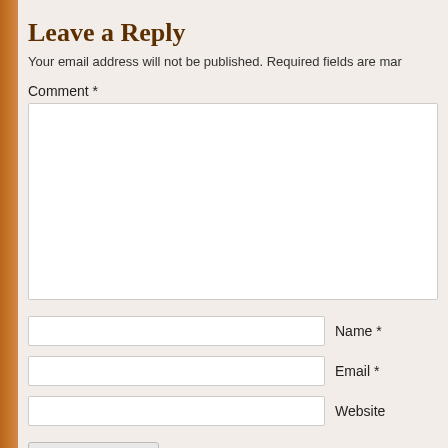Leave a Reply
Your email address will not be published. Required fields are mar
Comment *
Name *
Email *
Website
Post Comment